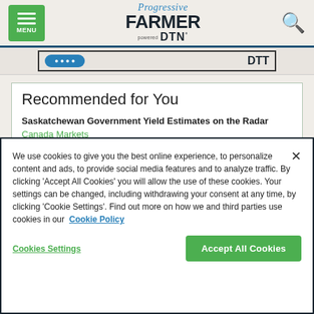Progressive Farmer powered by DTN — navigation header with menu and search
[Figure (screenshot): Advertisement banner strip with blue button and DTN logo]
Recommended for You
Saskatchewan Government Yield Estimates on the Radar
Canada Markets
We use cookies to give you the best online experience, to personalize content and ads, to provide social media features and to analyze traffic. By clicking 'Accept All Cookies' you will allow the use of these cookies. Your settings can be changed, including withdrawing your consent at any time, by clicking 'Cookie Settings'. Find out more on how we and third parties use cookies in our  Cookie Policy
Cookies Settings
Accept All Cookies